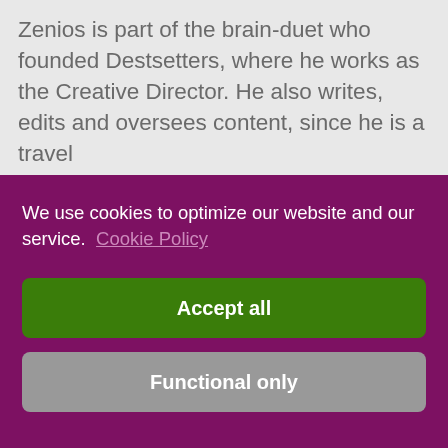Zenios is part of the brain-duet who founded Destsetters, where he works as the Creative Director. He also writes, edits and oversees content, since he is a travel
We use cookies to optimize our website and our service.  Cookie Policy
Accept all
Functional only
View preferences
[Figure (photo): Partial bottom strip of a travel photo showing teal/blue water or coastal scenery]